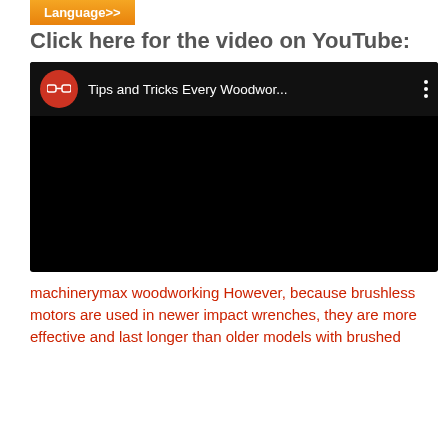Language>>
Click here for the video on YouTube:
[Figure (screenshot): Embedded YouTube video thumbnail showing a dark/black video player with a red channel icon featuring white sunglasses logo and the title 'Tips and Tricks Every Woodwor...' with a three-dot menu icon.]
machinerymax woodworking However, because brushless motors are used in newer impact wrenches, they are more effective and last longer than older models with brushed